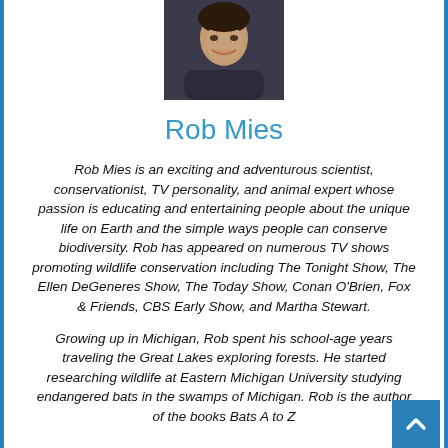[Figure (photo): Headshot photo of Rob Mies, a man smiling, dark background]
Rob Mies
Rob Mies is an exciting and adventurous scientist, conservationist, TV personality, and animal expert whose passion is educating and entertaining people about the unique life on Earth and the simple ways people can conserve biodiversity. Rob has appeared on numerous TV shows promoting wildlife conservation including The Tonight Show, The Ellen DeGeneres Show, The Today Show, Conan O'Brien, Fox & Friends, CBS Early Show, and Martha Stewart.
Growing up in Michigan, Rob spent his school-age years traveling the Great Lakes exploring forests. He started researching wildlife at Eastern Michigan University studying endangered bats in the swamps of Michigan. Rob is the author of the books Bats A to Z